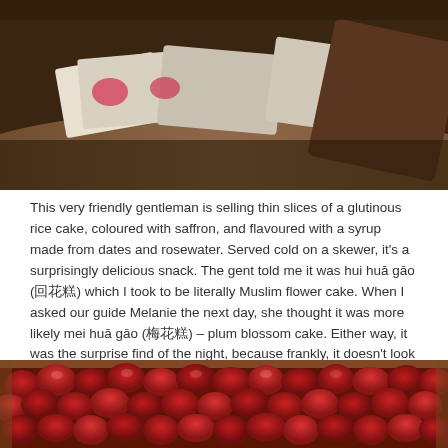[Figure (photo): A photo showing packages or bags of food items on a wooden surface, viewed from above at an angle, with warm brown tones.]
This very friendly gentleman is selling thin slices of a glutinous rice cake, coloured with saffron, and flavoured with a syrup made from dates and rosewater. Served cold on a skewer, it's a surprisingly delicious snack. The gent told me it was hui huā gāo (回花糕) which I took to be literally Muslim flower cake. When I asked our guide Melanie the next day, she thought it was more likely mei huā gāo (梅花糕) – plum blossom cake. Either way, it was the surprise find of the night, because frankly, it doesn't look like it would be that tasty.
[Figure (photo): A close-up photo of a basket or tray full of dried red dates (jujubes), vivid crimson-red in color.]